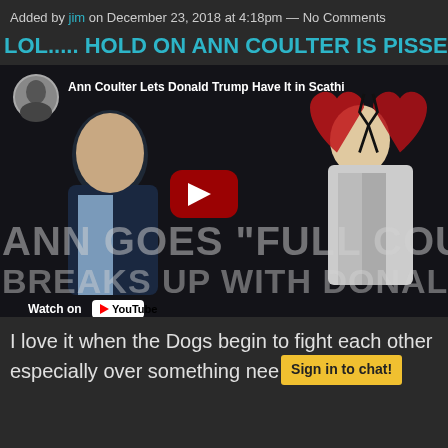Added by jim on December 23, 2018 at 4:18pm — No Comments
LOL..... HOLD ON ANN COULTER IS PISSED L
[Figure (screenshot): YouTube video thumbnail showing 'Ann Coulter Lets Donald Trump Have It in Scathi...' with two men in suits, a broken heart graphic overlay, a YouTube play button, large text overlay reading 'ANN GOES "FULL COU[LTER]' and 'BREAKS UP WITH DONALD T[RUMP]', and a 'Watch on YouTube' bar at bottom.]
I love it when the Dogs begin to fight each other especially over something nee
Sign in to chat!